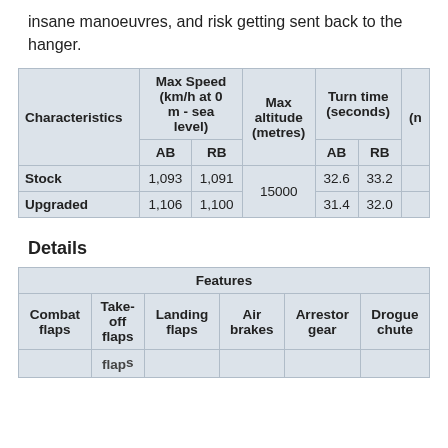insane manoeuvres, and risk getting sent back to the hanger.
| Characteristics | Max Speed (km/h at 0 m - sea level) AB | Max Speed (km/h at 0 m - sea level) RB | Max altitude (metres) | Turn time (seconds) AB | Turn time (seconds) RB | (n |
| --- | --- | --- | --- | --- | --- | --- |
| Stock | 1,093 | 1,091 | 15000 | 32.6 | 33.2 |  |
| Upgraded | 1,106 | 1,100 | 15000 | 31.4 | 32.0 |  |
Details
| Features | Combat flaps | Take-off flaps | Landing flaps | Air brakes | Arrestor gear | Drogue chute |
| --- | --- | --- | --- | --- | --- | --- |